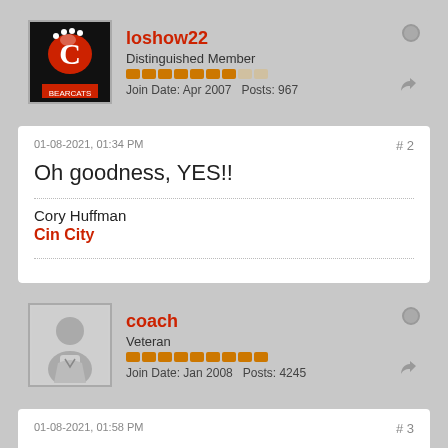loshow22
Distinguished Member
Join Date: Apr 2007   Posts: 967
01-08-2021, 01:34 PM
#2
Oh goodness, YES!!
Cory Huffman
Cin City
coach
Veteran
Join Date: Jan 2008   Posts: 4245
01-08-2021, 01:58 PM
#3